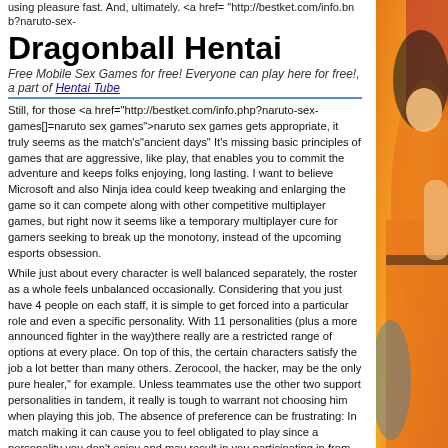using pleasure fast. And, ultimately. <a href="http://bestket.com/info.bnb?naruto-sex-
Dragonball Hentai
Free Mobile Sex Games for free! Everyone can play here for free!, a part of Hentai Tube
Still, for those <a href="http://bestket.com/info.php?naruto-sex-games[]=naruto sex games">naruto sex games gets appropriate, it truly seems as the match's"ancient days" It's missing basic principles of games that are aggressive, like play, that enables you to commit the adventure and keeps folks enjoying, long lasting. I want to believe Microsoft and also Ninja idea could keep tweaking and enlarging the game so it can compete along with other competitive multiplayer games, but right now it seems like a temporary multiplayer cure for gamers seeking to break up the monotony, instead of the upcoming esports obsession.
While just about every character is well balanced separately, the roster as a whole feels unbalanced occasionally. Considering that you just have 4 people on each staff, it is simple to get forced into a particular role and even a specific personality. With 11 personalities (plus a more announced fighter in the way)there really are a restricted range of options at every place. On top of this, the certain characters satisfy the job a lot better than many others. Zerocool, the hacker, may be the only pure healer," for example. Unless teammates use the other two support personalities in tandem, it really is tough to warrant not choosing him when playing this job. The absence of preference can be frustrating: In match making it can cause you to feel obligated to play since a personality you don't enjoy and may result in you participating in from character, that will ben't very fun.
The caveat, however, is the fact that everyone needs to"perform their class" as soon. With just four people to your team, with even one person who's not focusing into the purpose or using their skills that will aid the staff can empty out the fun of their game very fast. This ends match making in to a tiny crapshoot. You will never know whether you will definately get mates that know the rating, or certainly will drop what to start fights, or even play with the objective too hard and ignore the team. Despite a warning when you turn the match for first time that communication is important, just a handful of gamers